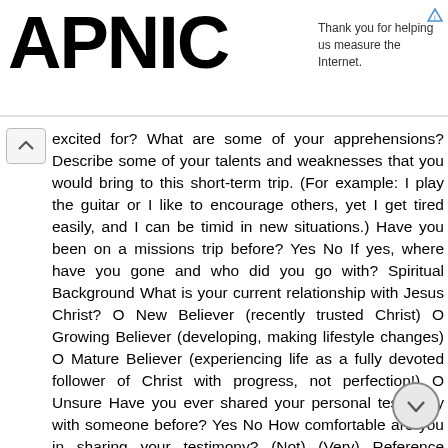APNIC — Thank you for helping us measure the Internet.
excited for? What are some of your apprehensions? Describe some of your talents and weaknesses that you would bring to this short-term trip. (For example: I play the guitar or I like to encourage others, yet I get tired easily, and I can be timid in new situations.) Have you been on a missions trip before? Yes No If yes, where have you gone and who did you go with? Spiritual Background What is your current relationship with Jesus Christ? O New Believer (recently trusted Christ) O Growing Believer (developing, making lifestyle changes) O Mature Believer (experiencing life as a fully devoted follower of Christ with progress, not perfection!) O Unsure Have you ever shared your personal testimony with someone before? Yes No How comfortable are you in sharing your testimony? (Not) (Very) Reference Information A Pastor or mature Christian reference is required for participation on a Life Church Missions Trip. Please list the contact information of the person you will be giving the attached reference form to. References may not be a relative. Name: Relationship: Pastor- Church: Employer Friend Other- Address: Phone #: